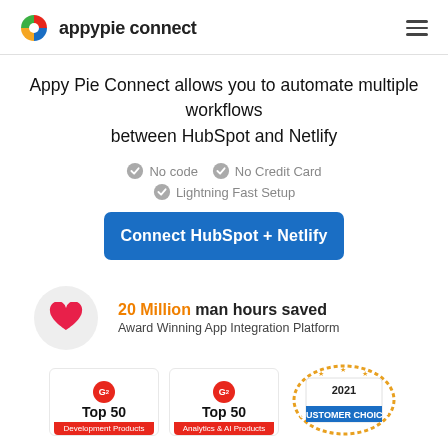[Figure (logo): Appy Pie Connect logo with colorful quadrant icon and text 'appypie connect']
Appy Pie Connect allows you to automate multiple workflows between HubSpot and Netlify
No code
No Credit Card
Lightning Fast Setup
Connect HubSpot + Netlify
20 Million man hours saved
Award Winning App Integration Platform
[Figure (illustration): G2 Top 50 Development Products badge]
[Figure (illustration): G2 Top 50 Analytics & AI Products badge]
[Figure (illustration): 2021 Winner Customer Choice badge with orange stars ring]